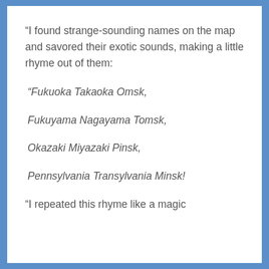“I found strange-sounding names on the map and savored their exotic sounds, making a little rhyme out of them:
“Fukuoka Takaoka Omsk,
Fukuyama Nagayama Tomsk,
Okazaki Miyazaki Pinsk,
Pennsylvania Transylvania Minsk!
“I repeated this rhyme like a magic